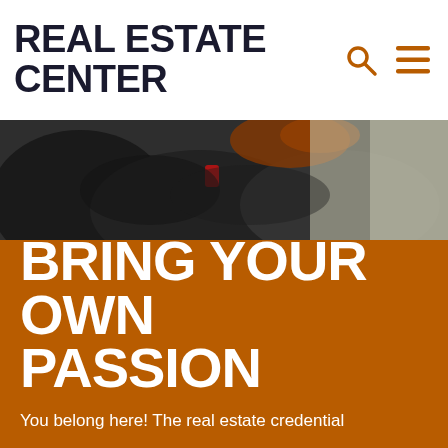REAL ESTATE CENTER
[Figure (photo): Close-up photo of a person with red/brown hair in a dark leather jacket/seat setting, blurred background on the right side]
BRING YOUR OWN PASSION
You belong here! The real estate credential